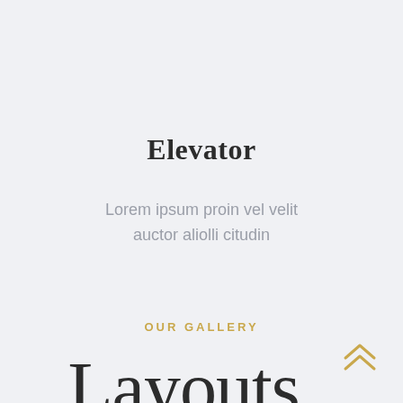Elevator
Lorem ipsum proin vel velit auctor aliolli citudin
OUR GALLERY
Layouts
[Figure (illustration): Double chevron up arrow icon in gold/yellow color, positioned at bottom right]